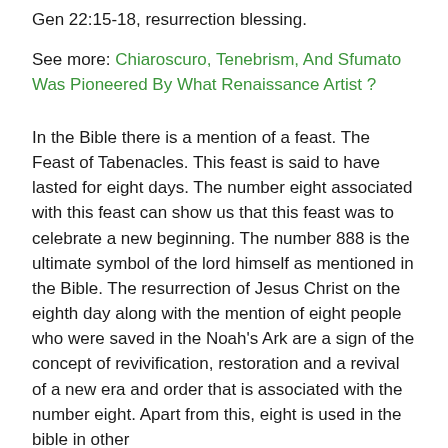Gen 22:15-18, resurrection blessing.
See more: Chiaroscuro, Tenebrism, And Sfumato Was Pioneered By What Renaissance Artist ?
In the Bible there is a mention of a feast. The Feast of Tabenacles. This feast is said to have lasted for eight days. The number eight associated with this feast can show us that this feast was to celebrate a new beginning. The number 888 is the ultimate symbol of the lord himself as mentioned in the Bible. The resurrection of Jesus Christ on the eighth day along with the mention of eight people who were saved in the Noah's Ark are a sign of the concept of revivification, restoration and a revival of a new era and order that is associated with the number eight. Apart from this, eight is used in the bible in other